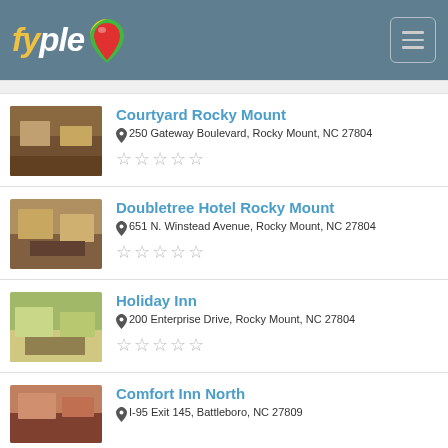fyple
Courtyard Rocky Mount
250 Gateway Boulevard, Rocky Mount, NC 27804
Doubletree Hotel Rocky Mount
651 N. Winstead Avenue, Rocky Mount, NC 27804
Holiday Inn
200 Enterprise Drive, Rocky Mount, NC 27804
Comfort Inn North
I-95 Exit 145, Battleboro, NC 27809